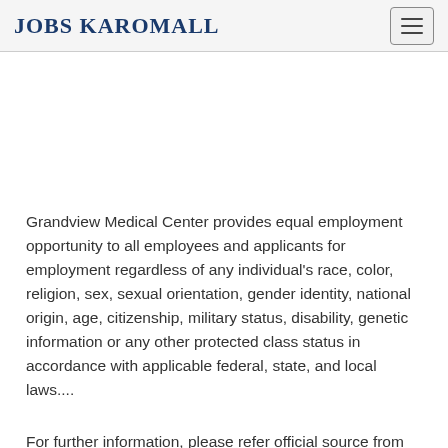JOBS KAROMALL
Grandview Medical Center provides equal employment opportunity to all employees and applicants for employment regardless of any individual's race, color, religion, sex, sexual orientation, gender identity, national origin, age, citizenship, military status, disability, genetic information or any other protected class status in accordance with applicable federal, state, and local laws....
For further information, please refer official source from Grandview Medical Center on following link below. To find out